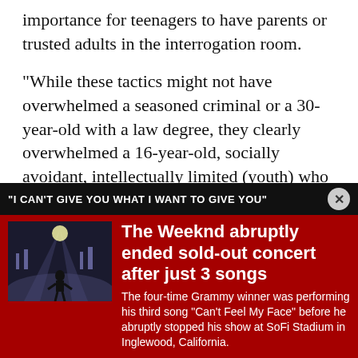importance for teenagers to have parents or trusted adults in the interrogation room.
"While these tactics might not have overwhelmed a seasoned criminal or a 30-year-old with a law degree, they clearly overwhelmed a 16-year-old, socially avoidant, intellectually limited (youth) who had never been interrogated by the police before," he said.
The appellate panel split, with Judges Ilana Rovner and
[Figure (screenshot): Advertisement banner on dark red background. Label bar reads: '"I CAN'T GIVE YOU WHAT I WANT TO GIVE YOU"' with a close (X) button. Below is an image of The Weeknd performing on stage with fog/haze, beside bold white headline: 'The Weeknd abruptly ended sold-out concert after just 3 songs'. Body text: 'The four-time Grammy winner was performing his third song "Can't Feel My Face" before he abruptly stopped his show at SoFi Stadium in Inglewood, California.']